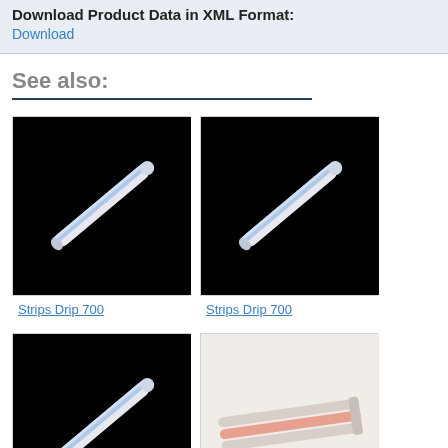Download Product Data in XML Format:
Download
See also:
[Figure (photo): Product photo of Strips Drip 700 on black background, diagonal orientation]
Strips Drip 700
[Figure (photo): Product photo of Strips Drip 700 on black background, diagonal orientation]
Strips Drip 700
[Figure (photo): Product photo of Strips Drip 700 on black background, diagonal orientation]
Strips Drip 700
[Figure (photo): Product photo of Strips-Multi-sensor on light background]
Strips-Multi-sensor